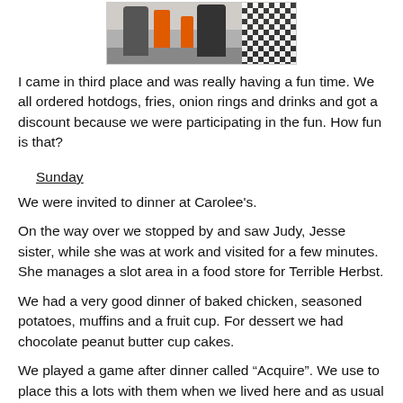[Figure (photo): Outdoor photo showing people and orange traffic cones, with a checkered pattern on the right side.]
I came in third place and was really having a fun time. We all ordered hotdogs, fries, onion rings and drinks and got a discount because we were participating in the fun. How fun is that?
Sunday
We were invited to dinner at Carolee's.
On the way over we stopped by and saw Judy, Jesse sister, while she was at work and visited for a few minutes. She manages a slot area in a food store for Terrible Herbst.
We had a very good dinner of baked chicken, seasoned potatoes, muffins and a fruit cup. For dessert we had chocolate peanut butter cup cakes.
We played a game after dinner called “Acquire”. We use to place this a lots with them when we lived here and as usual Chick won!!